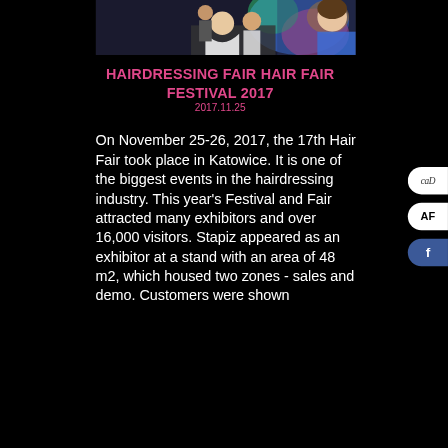[Figure (photo): Hairdressing salon scene with people getting hair done, colorful abstract art painting in background]
HAIRDRESSING FAIR HAIR FAIR FESTIVAL 2017
2017.11.25
On November 25-26, 2017, the 17th Hair Fair took place in Katowice. It is one of the biggest events in the hairdressing industry. This year's Festival and Fair attracted many exhibitors and over 16,000 visitors. Stapiz appeared as an exhibitor at a stand with an area of 48 m2, which housed two zones - sales and demo. Customers were shown...